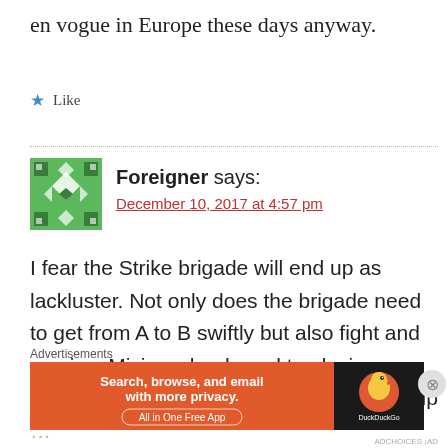en vogue in Europe these days anyway.
Like
Foreigner says:
December 10, 2017 at 4:57 pm
I fear the Strike brigade will end up as lackluster. Not only does the brigade need to get from A to B swiftly but also fight and survive. Mixing wheels and tracks in same brigades manuever battalion doesn't add up …
Advertisements
[Figure (screenshot): DuckDuckGo advertisement banner: orange background with text 'Search, browse, and email with more privacy. All in One Free App' and DuckDuckGo logo on dark right panel.]